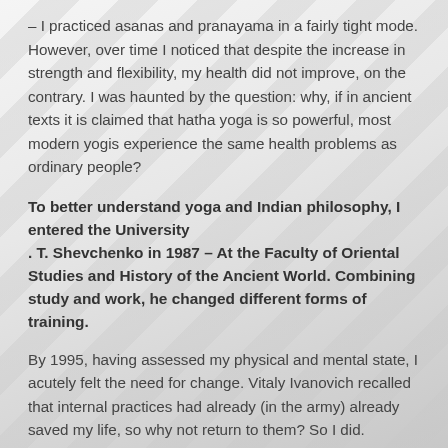– I practiced asanas and pranayama in a fairly tight mode. However, over time I noticed that despite the increase in strength and flexibility, my health did not improve, on the contrary. I was haunted by the question: why, if in ancient texts it is claimed that hatha yoga is so powerful, most modern yogis experience the same health problems as ordinary people?
To better understand yoga and Indian philosophy, I entered the University . T. Shevchenko in 1987 – At the Faculty of Oriental Studies and History of the Ancient World. Combining study and work, he changed different forms of training.
By 1995, having assessed my physical and mental state, I acutely felt the need for change. Vitaly Ivanovich recalled that internal practices had already (in the army) already saved my life, so why not return to them? So I did. Studying all available primary sources on yoga and medical literature, I began to monitor even more carefully how the performance of certain